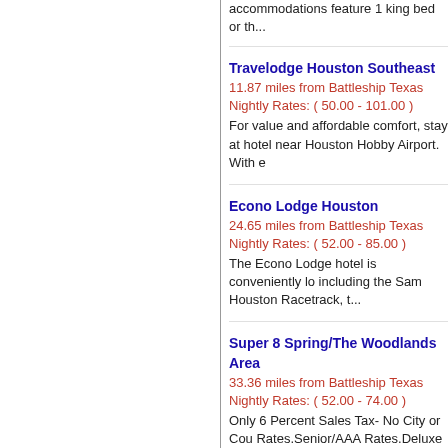accommodations feature 1 king bed or th...
Travelodge Houston Southeast
11.87 miles from Battleship Texas
Nightly Rates: ( 50.00 - 101.00 )
For value and affordable comfort, stay at hotel near Houston Hobby Airport. With e...
Econo Lodge Houston
24.65 miles from Battleship Texas
Nightly Rates: ( 52.00 - 85.00 )
The Econo Lodge hotel is conveniently lo... including the Sam Houston Racetrack, t...
Super 8 Spring/The Woodlands Area
33.36 miles from Battleship Texas
Nightly Rates: ( 52.00 - 74.00 )
Only 6 Percent Sales Tax- No City or Cou... Rates.Senior/AAA Rates.Deluxe Rooms A...
Spring/The Woodlands Area
Knights Inn Houston Hobby Airport
11.54 miles from Battleship Texas
Nightly Rates: ( 52.00 - 64.00 )
Knights Inn Houston Hobby Airport will pr... an affordable price. Whether travel......more